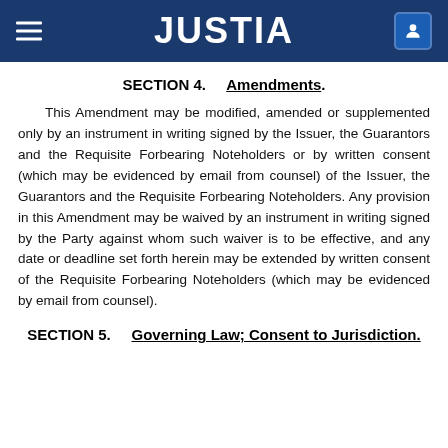JUSTIA
SECTION 4.    Amendments.
This Amendment may be modified, amended or supplemented only by an instrument in writing signed by the Issuer, the Guarantors and the Requisite Forbearing Noteholders or by written consent (which may be evidenced by email from counsel) of the Issuer, the Guarantors and the Requisite Forbearing Noteholders. Any provision in this Amendment may be waived by an instrument in writing signed by the Party against whom such waiver is to be effective, and any date or deadline set forth herein may be extended by written consent of the Requisite Forbearing Noteholders (which may be evidenced by email from counsel).
SECTION 5.    Governing Law; Consent to Jurisdiction.